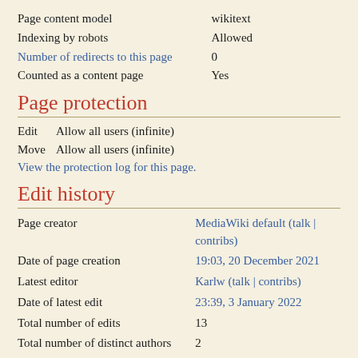| Page content model | wikitext |
| Indexing by robots | Allowed |
| Number of redirects to this page | 0 |
| Counted as a content page | Yes |
Page protection
Edit   Allow all users (infinite)
Move Allow all users (infinite)
View the protection log for this page.
Edit history
| Page creator | MediaWiki default (talk | contribs) |
| Date of page creation | 19:03, 20 December 2021 |
| Latest editor | Karlw (talk | contribs) |
| Date of latest edit | 23:39, 3 January 2022 |
| Total number of edits | 13 |
| Total number of distinct authors | 2 |
| Recent number of edits (within past 90 days) | 0 |